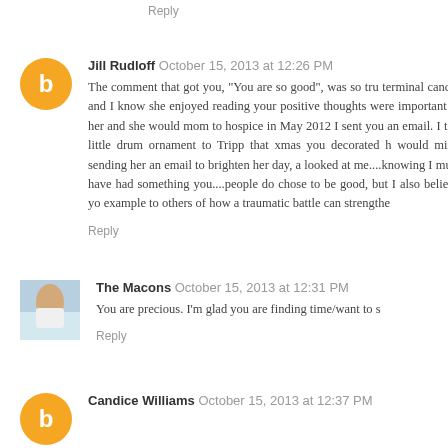Reply
Jill Rudloff  October 15, 2013 at 12:26 PM
The comment that got you, "You are so good", was so tru terminal cancer and I know she enjoyed reading your positive thoughts were important to her and she would mom to hospice in May 2012 I sent you an email. I tok little drum ornament to Tripp that xmas you decorated h would mind sending her an email to brighten her day, a looked at me....knowing I must have had something you....people do chose to be good, but I also believe yo example to others of how a traumatic battle can strengthe
Reply
The Macons  October 15, 2013 at 12:31 PM
You are precious. I'm glad you are finding time/want to s
Reply
Candice Williams  October 15, 2013 at 12:37 PM